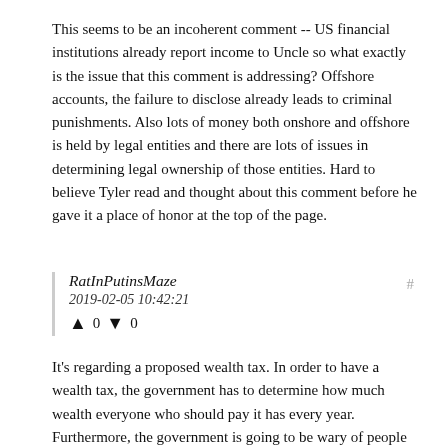This seems to be an incoherent comment -- US financial institutions already report income to Uncle so what exactly is the issue that this comment is addressing? Offshore accounts, the failure to disclose already leads to criminal punishments. Also lots of money both onshore and offshore is held by legal entities and there are lots of issues in determining legal ownership of those entities. Hard to believe Tyler read and thought about this comment before he gave it a place of honor at the top of the page.
RatInPutinsMaze
2019-02-05 10:42:21
↑ 0 ↓ 0
It's regarding a proposed wealth tax. In order to have a wealth tax, the government has to determine how much wealth everyone who should pay it has every year. Furthermore, the government is going to be wary of people claiming to have less assets than they do. So, the threshold for reporting will be lower than the nominal amount.